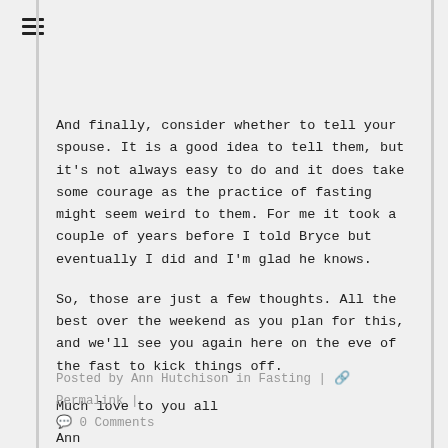And finally, consider whether to tell your spouse. It is a good idea to tell them, but it's not always easy to do and it does take some courage as the practice of fasting might seem weird to them. For me it took a couple of years before I told Bryce but eventually I did and I'm glad he knows.
So, those are just a few thoughts. All the best over the weekend as you plan for this, and we'll see you again here on the eve of the fast to kick things off.
Much love to you all
Ann
Posted by Ann Hutchison in Fasting | 🔗 Permalink | 💬 0 Comments